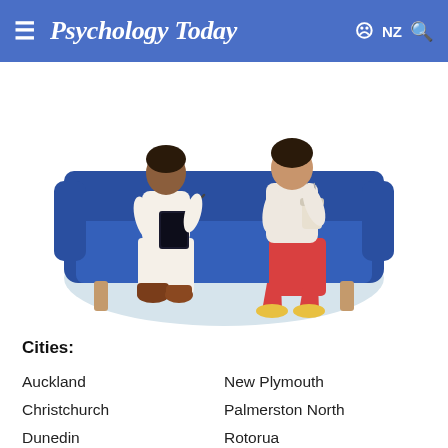Psychology Today  NZ
[Figure (illustration): Illustration of a therapy session: two people seated on a dark blue sofa. Left person in white pants and brown boots holds a notepad and pen; right person in red flared pants and yellow shoes holds a cup. Light grey circular rug beneath.]
Cities:
Auckland
New Plymouth
Christchurch
Palmerston North
Dunedin
Rotorua
Hamilton
Tauranga
Napier
Wellington
Nelson
Whangarei